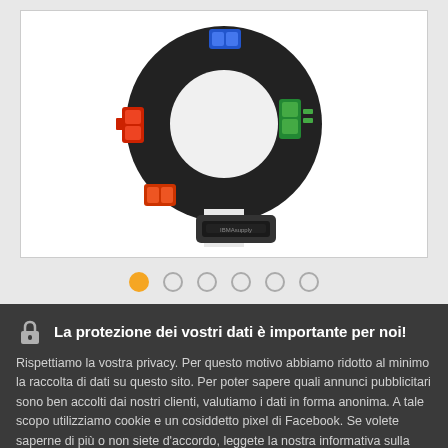[Figure (photo): Photo of a ring-shaped electronic device (current transformer or similar sensor) with colored LED indicators in blue, red, green, and orange, mounted on a black ring housing with a gap at the bottom for clamping.]
[Figure (other): Image carousel navigation dots: 6 circular dots, first one filled orange (active), rest are empty circles with grey border.]
La protezione dei vostri dati è importante per noi! Rispettiamo la vostra privacy. Per questo motivo abbiamo ridotto al minimo la raccolta di dati su questo sito. Per poter sapere quali annunci pubblicitari sono ben accolti dai nostri clienti, valutiamo i dati in forma anonima. A tale scopo utilizziamo cookie e un cosiddetto pixel di Facebook. Se volete saperne di più o non siete d'accordo, leggete la nostra informativa sulla privacy. informativa sulla privacy
ACCETTO